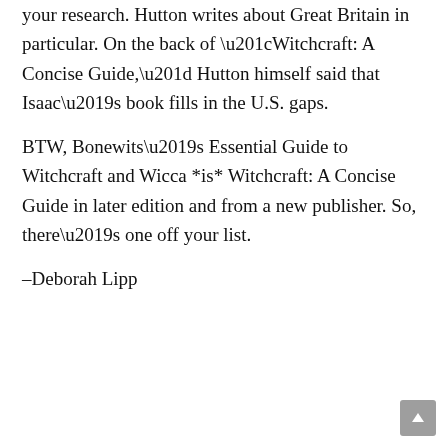your research. Hutton writes about Great Britain in particular. On the back of “Witchcraft: A Concise Guide,” Hutton himself said that Isaac’s book fills in the U.S. gaps.
BTW, Bonewits’s Essential Guide to Witchcraft and Wicca *is* Witchcraft: A Concise Guide in later edition and from a new publisher. So, there’s one off your list.
–Deborah Lipp